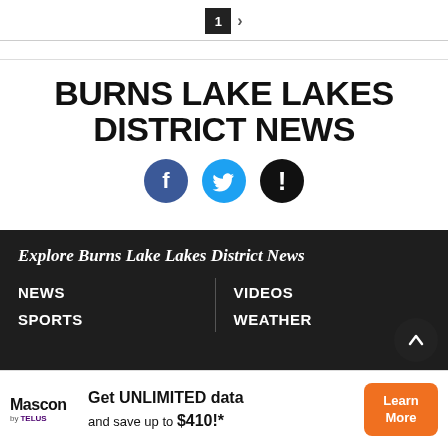1 >
BURNS LAKE LAKES DISTRICT NEWS
[Figure (illustration): Social media icons: Facebook (blue circle with f), Twitter (light blue circle with bird), Alert/Info (black circle with exclamation mark)]
Explore Burns Lake Lakes District News
NEWS
VIDEOS
SPORTS
WEATHER
[Figure (infographic): Advertisement banner: Mascon by TELUS logo on left, text 'Get UNLIMITED data and save up to $410!*', orange 'Learn More' button on right]